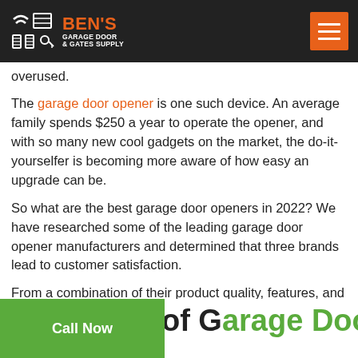BEN'S GARAGE DOOR & GATES SUPPLY
overused.
The garage door opener is one such device. An average family spends $250 a year to operate the opener, and with so many new cool gadgets on the market, the do-it-yourselfer is becoming more aware of how easy an upgrade can be.
So what are the best garage door openers in 2022? We have researched some of the leading garage door opener manufacturers and determined that three brands lead to customer satisfaction.
From a combination of their product quality, features, and overall value, these three brands of garage door openers are the best in the industry.
The types of Garage Door Openers